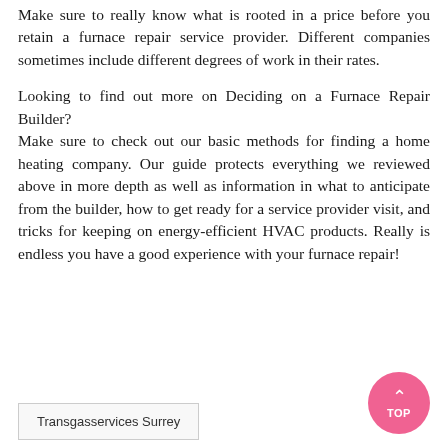Make sure to really know what is rooted in a price before you retain a furnace repair service provider. Different companies sometimes include different degrees of work in their rates.
Looking to find out more on Deciding on a Furnace Repair Builder?
Make sure to check out our basic methods for finding a home heating company. Our guide protects everything we reviewed above in more depth as well as information in what to anticipate from the builder, how to get ready for a service provider visit, and tricks for keeping on energy-efficient HVAC products. Really is endless you have a good experience with your furnace repair!
Transgasservices Surrey